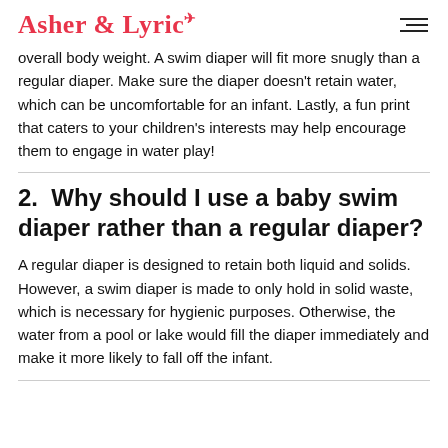Asher & Lyric
overall body weight. A swim diaper will fit more snugly than a regular diaper. Make sure the diaper doesn't retain water, which can be uncomfortable for an infant. Lastly, a fun print that caters to your children's interests may help encourage them to engage in water play!
2.  Why should I use a baby swim diaper rather than a regular diaper?
A regular diaper is designed to retain both liquid and solids. However, a swim diaper is made to only hold in solid waste, which is necessary for hygienic purposes. Otherwise, the water from a pool or lake would fill the diaper immediately and make it more likely to fall off the infant.